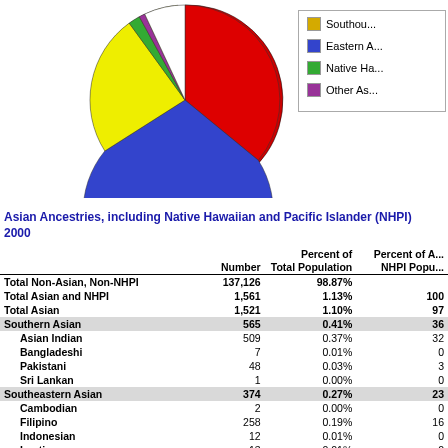[Figure (pie-chart): Asian Ancestries pie chart]
Asian Ancestries, including Native Hawaiian and Pacific Islander (NHPI) 2000
|  | Number | Percent of Total Population | Percent of Asian NHPI Popu... |
| --- | --- | --- | --- |
| Total Non-Asian, Non-NHPI | 137,126 | 98.87% |  |
| Total Asian and NHPI | 1,561 | 1.13% | 100 |
| Total Asian | 1,521 | 1.10% | 97 |
| Southern Asian | 565 | 0.41% | 36 |
| Asian Indian | 509 | 0.37% | 32 |
| Bangladeshi | 7 | 0.01% | 0 |
| Pakistani | 48 | 0.03% | 3 |
| Sri Lankan | 1 | 0.00% | 0 |
| Southeastern Asian | 374 | 0.27% | 23 |
| Cambodian | 2 | 0.00% | 0 |
| Filipino | 258 | 0.19% | 16 |
| Indonesian | 12 | 0.01% | 0 |
| Laotian | 13 | 0.01% | 0 |
| Malaysian | 1 | 0.00% | 0 |
| Thai | 15 | 0.01% | 0 |